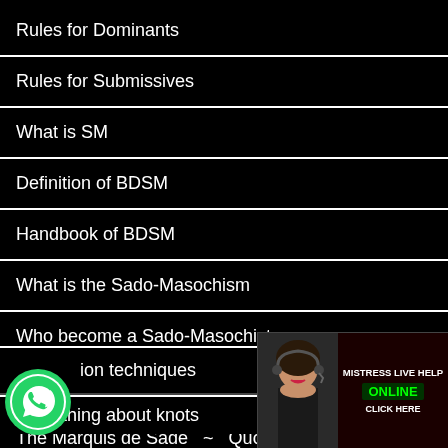Rules for Dominants
Rules for Submissives
What is SM
Definition of BDSM
Handbook of BDSM
What is the Sado-Masochism
Who become a Sado-Masochist
Terminology of BDSM
The Marquis de Sade  ~  Quotation-Sodo
ion techniques
Everything about knots
[Figure (infographic): Chat with us speech bubble in orange/yellow gradient with bold white text 'Chat with us!']
[Figure (infographic): Live help widget with woman wearing headset, text 'MISTRESS LIVE HELP', green 'ONLINE' button, 'CLICK HERE']
[Figure (logo): WhatsApp green circle icon with phone handset]